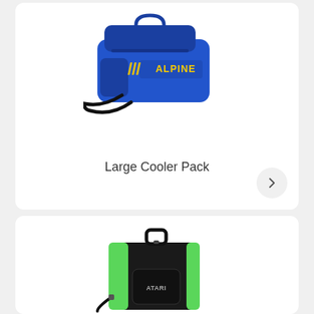[Figure (photo): Blue Alpine branded large cooler bag with shoulder strap and yellow logo text]
Large Cooler Pack
[Figure (photo): Black and green Atari branded cooler bag with handle and shoulder strap]